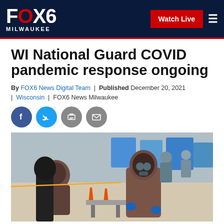FOX6 MILWAUKEE — Watch Live
WI National Guard COVID pandemic response ongoing
By FOX6 News Digital Team | Published December 20, 2021 | Wisconsin | FOX6 News Milwaukee
[Figure (photo): National Guard personnel in full hazmat suits and gas masks at an outdoor COVID testing site with orange traffic cones and blue equipment in the background]